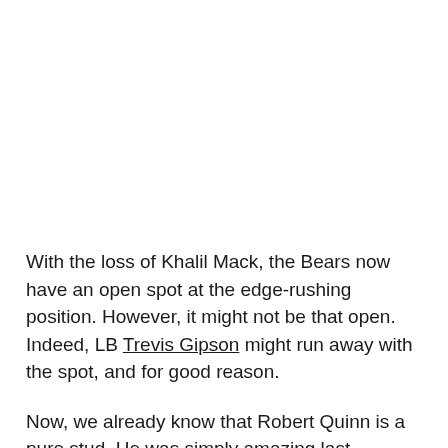With the loss of Khalil Mack, the Bears now have an open spot at the edge-rushing position. However, it might not be that open. Indeed, LB Trevis Gipson might run away with the spot, and for good reason.
Now, we already know that Robert Quinn is a pure stud. He was simply amazing last